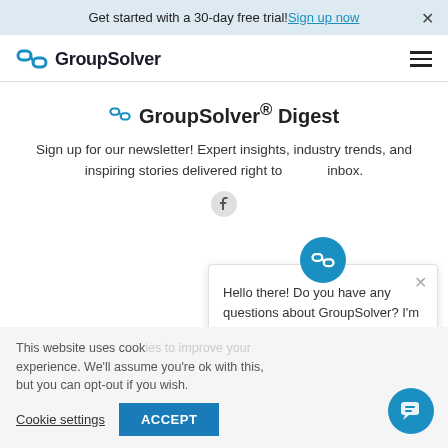Get started with a 30-day free trial! Sign up now ×
[Figure (logo): GroupSolver logo with blue chain-link icon and bold GroupSolver text]
GroupSolver® Digest
Sign up for our newsletter! Expert insights, industry trends, and inspiring stories delivered right to your inbox.
[Figure (screenshot): Chat popup overlay with GroupSolver chain-link icon bubble, close X button, and text: Hello there! Do you have any questions about GroupSolver? I'm here to help.]
This website uses cookies to improve your experience. We'll assume you're ok with this, but you can opt-out if you wish.
Cookie settings   ACCEPT